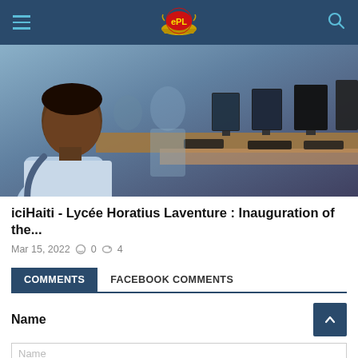Navigation bar with hamburger menu, ePL logo, and search icon
[Figure (photo): Students sitting at computers in a computer lab, smiling and working]
iciHaiti - Lycée Horatius Laventure : Inauguration of the...
Mar 15, 2022  0  4
COMMENTS  FACEBOOK COMMENTS
Name
Name